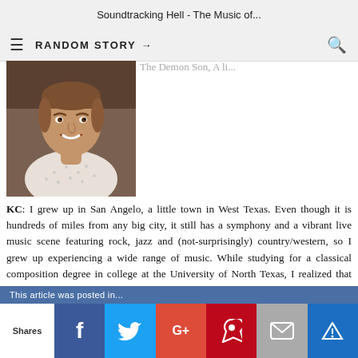Soundtracking Hell - The Music of...
RANDOM STORY →
[Figure (photo): Headshot of a smiling middle-aged man with short brown hair wearing a white patterned shirt, seated in front of a dark background (possibly a piano).]
The Demon Son, A li...
KC: I grew up in San Angelo, a little town in West Texas. Even though it is hundreds of miles from any big city, it still has a symphony and a vibrant live music scene featuring rock, jazz and (not-surprisingly) country/western, so I grew up experiencing a wide range of music. While studying for a classical composition degree in college at the University of North Texas, I realized that writing music for film was the best place I could apply my love of all these different musical styles. My stand partner in the UNT orchestra was Shirley Walker's son, Ian, and he
Shares  f  t  G+  P  ✉  ♛